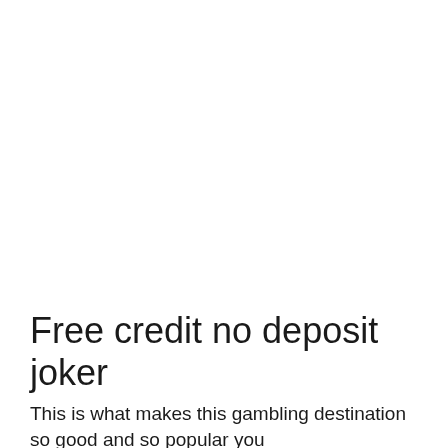Free credit no deposit joker
This is what makes this gambling destination so good and so popular you